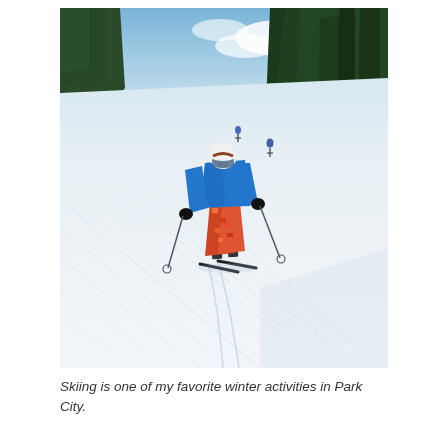[Figure (photo): A skier wearing a blue jacket, colorful pants, white helmet, and ski poles is skiing down a groomed snow slope. Conifer trees line the right side and background of the slope. Two other skiers are visible higher up the slope. The sky is partly cloudy and blue.]
Skiing is one of my favorite winter activities in Park City.